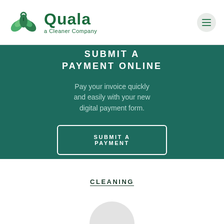[Figure (logo): Quala - a Cleaner Company logo with green leaf emblem]
SUBMIT A PAYMENT ONLINE
Pay your invoice quickly and easily with your new digital payment form.
SUBMIT A PAYMENT
CLEANING